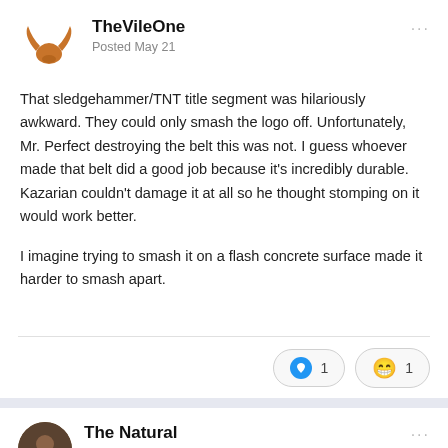[Figure (logo): Forum avatar: orange longhorn logo on white background]
TheVileOne
Posted May 21
That sledgehammer/TNT title segment was hilariously awkward. They could only smash the logo off. Unfortunately, Mr. Perfect destroying the belt this was not. I guess whoever made that belt did a good job because it's incredibly durable. Kazarian couldn't damage it at all so he thought stomping on it would work better.

I imagine trying to smash it on a flash concrete surface made it harder to smash apart.
[Figure (logo): Forum avatar: The Natural profile picture, dark circular photo]
The Natural
Posted May 21